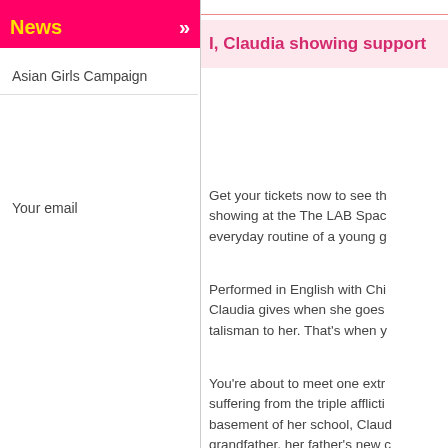News »
Asian Girls Campaign
Your email
I, Claudia showing support
Get your tickets now to see th... showing at the The LAB Spac... everyday routine of a young g...
Performed in English with Chi... Claudia gives when she goes ... talisman to her. That's when y...
You're about to meet one extr... suffering from the triple afflicti... basement of her school, Claud... grandfather, her father's new c...